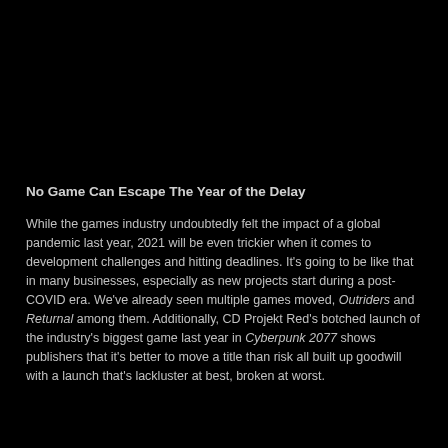No Game Can Escape The Year of the Delay
While the games industry undoubtedly felt the impact of a global pandemic last year, 2021 will be even trickier when it comes to development challenges and hitting deadlines. It's going to be like that in many businesses, especially as new projects start during a post-COVID era. We've already seen multiple games moved, Outriders and Returnal among them. Additionally, CD Projekt Red's botched launch of the industry's biggest game last year in Cyberpunk 2077 shows publishers that it's better to move a title than risk all built up goodwill with a launch that's lackluster at best, broken at worst.